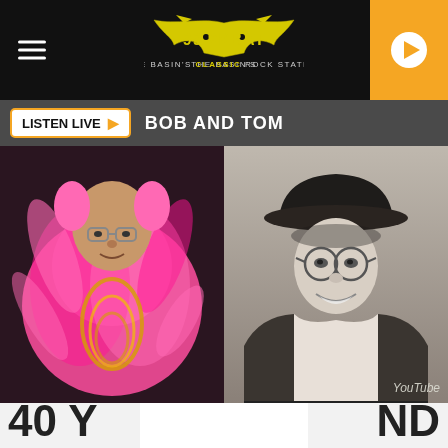[Figure (logo): 99.9 KBAT logo with bat silhouette and text 'THE BASIN'S CLASSIC ROCK STATION']
LISTEN LIVE ▶  BOB AND TOM
[Figure (photo): Left side: man dressed in pink feather boa and colorful costume with glasses. Right side: black and white photo of man in cowboy hat, glasses, and leather jacket. YouTube watermark in bottom right.]
40 Y...  ND